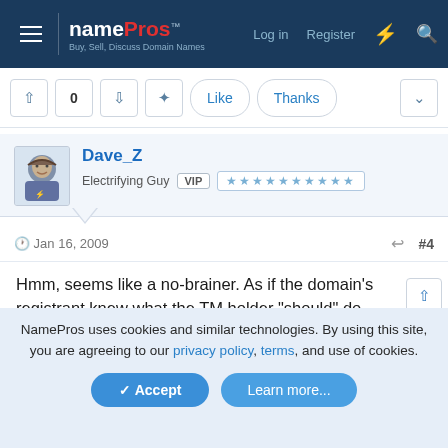namePros - Buy, Sell, Discuss Domain Names | Log in | Register
[Figure (screenshot): Vote up/down buttons with count 0, move icon, Like and Thanks reaction buttons, expand chevron]
[Figure (photo): Avatar image for user Dave_Z, a small illustrated character]
Dave_Z
Electrifying Guy  VIP  ★★★★★★★★★★
Jan 16, 2009  #4
Hmm, seems like a no-brainer. As if the domain's registrant knew what the TM holder "should" do.
[Figure (screenshot): Vote up/down buttons with count 0, move icon, Like and Thanks reaction buttons, expand chevron (bottom bar)]
NamePros uses cookies and similar technologies. By using this site, you are agreeing to our privacy policy, terms, and use of cookies.
Accept  Learn more...